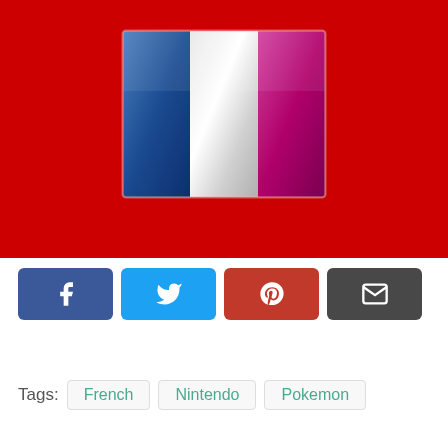[Figure (illustration): Red background with a stylized French flag (tricolor: blue, white, pink/magenta stripes) displayed in the center with a glossy/shiny effect and a subtle border.]
[Figure (infographic): Row of four social sharing buttons: Facebook (blue, 'f' icon), Twitter (light blue, bird icon), Pinterest (red, 'P' icon), Email (dark gray, envelope icon).]
Tags:  French  Nintendo  Pokemon